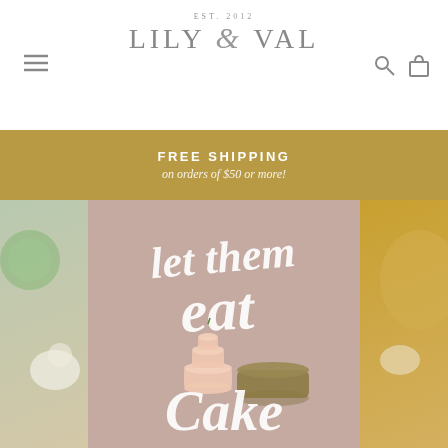LILY & VAL — EST. 2012
FREE SHIPPING on orders of $50 or more!
[Figure (photo): Hero section showing a 'Let them eat Cake' illustrated art print with script lettering and illustrated cakes on a mauve background, flanked by food/floral lifestyle photos on left (green plate, white flowers) and right (yellow fabric, flowers, cookies).]